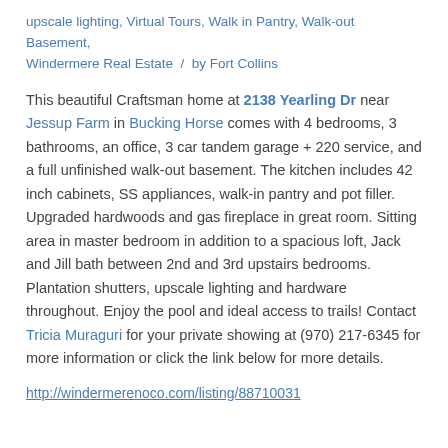upscale lighting, Virtual Tours, Walk in Pantry, Walk-out Basement, Windermere Real Estate  /  by Fort Collins
This beautiful Craftsman home at 2138 Yearling Dr near Jessup Farm in Bucking Horse comes with 4 bedrooms, 3 bathrooms, an office, 3 car tandem garage + 220 service, and a full unfinished walk-out basement. The kitchen includes 42 inch cabinets, SS appliances, walk-in pantry and pot filler. Upgraded hardwoods and gas fireplace in great room. Sitting area in master bedroom in addition to a spacious loft, Jack and Jill bath between 2nd and 3rd upstairs bedrooms. Plantation shutters, upscale lighting and hardware throughout. Enjoy the pool and ideal access to trails! Contact Tricia Muraguri for your private showing at (970) 217-6345 for more information or click the link below for more details.
http://windermerenoco.com/listing/88710031